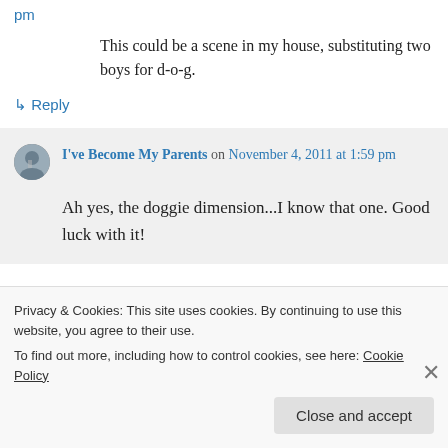pm
This could be a scene in my house, substituting two boys for d-o-g.
↳ Reply
I've Become My Parents on November 4, 2011 at 1:59 pm
Ah yes, the doggie dimension...I know that one. Good luck with it!
Privacy & Cookies: This site uses cookies. By continuing to use this website, you agree to their use.
To find out more, including how to control cookies, see here: Cookie Policy
Close and accept